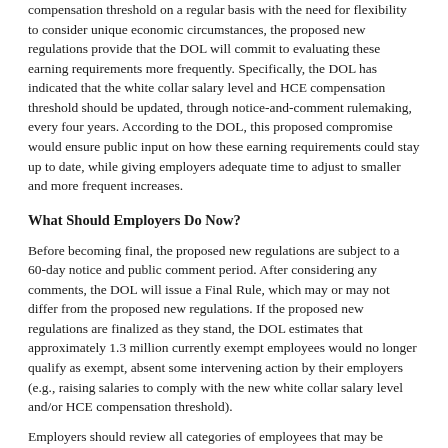compensation threshold on a regular basis with the need for flexibility to consider unique economic circumstances, the proposed new regulations provide that the DOL will commit to evaluating these earning requirements more frequently. Specifically, the DOL has indicated that the white collar salary level and HCE compensation threshold should be updated, through notice-and-comment rulemaking, every four years. According to the DOL, this proposed compromise would ensure public input on how these earning requirements could stay up to date, while giving employers adequate time to adjust to smaller and more frequent increases.
What Should Employers Do Now?
Before becoming final, the proposed new regulations are subject to a 60-day notice and public comment period. After considering any comments, the DOL will issue a Final Rule, which may or may not differ from the proposed new regulations. If the proposed new regulations are finalized as they stand, the DOL estimates that approximately 1.3 million currently exempt employees would no longer qualify as exempt, absent some intervening action by their employers (e.g., raising salaries to comply with the new white collar salary level and/or HCE compensation threshold).
Employers should review all categories of employees that may be affected by the proposed new regulations, if finalized, and take whatever steps are